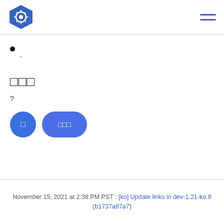Kubernetes logo and navigation menu
'
?
[button] [button]
November 15, 2021 at 2:38 PM PST : [ko] Update links in dev-1.21-ko.8 (b1737a87a7)